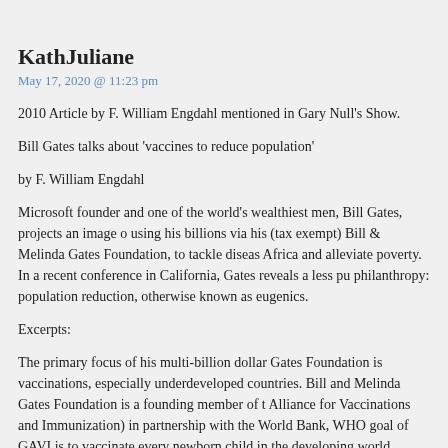KathJuliane
May 17, 2020 @ 11:23 pm
2010 Article by F. William Engdahl mentioned in Gary Null's Show.
Bill Gates talks about 'vaccines to reduce population'
by F. William Engdahl
Microsoft founder and one of the world's wealthiest men, Bill Gates, projects an image of a passionate philanthropist using his billions via his (tax exempt) Bill & Melinda Gates Foundation, to tackle disease, especially in Africa and alleviate poverty. In a recent conference in California, Gates reveals a less public agenda of his philanthropy: population reduction, otherwise known as eugenics.
Excerpts:
The primary focus of his multi-billion dollar Gates Foundation is vaccinations, especially in underdeveloped countries. Bill and Melinda Gates Foundation is a founding member of the GAVI Alliance (Global Alliance for Vaccinations and Immunization) in partnership with the World Bank, WHO and the vaccine industry. The goal of GAVI is to vaccinate every newborn child in the developing world.
Now that sounds like noble philanthropic work. The problem is that the vaccine industry has a long history of dumping dangerous—meaning unsafe because untested or proven harmful—vaccines on unsuspecting Third World populations when they cannot get rid of the vaccines in the West. Louise Voller, Kristian
Some organizations have suggested that the true aim of the vaccinations is to make peop